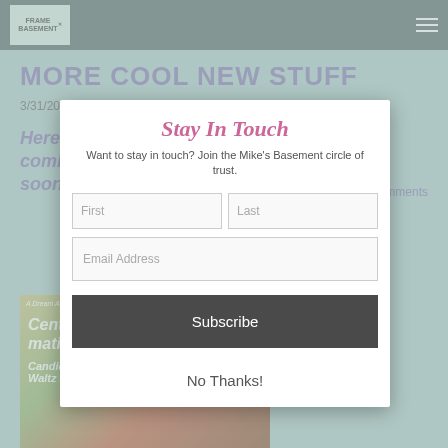FRAME BASEMENT — navigation header with logo and hamburger menu
MORE COOL NEW STUFF
3/31/2011
0 Comments
Here's another batch of things just out or coming soon...
[Figure (illustration): Album art for Centro-matic Candidate Waltz with illustrated figures]
Stay In Touch
Want to stay in touch? Join the Mike's Basement circle of trust.
First
Last
Email Address
Subscribe
No Thanks!